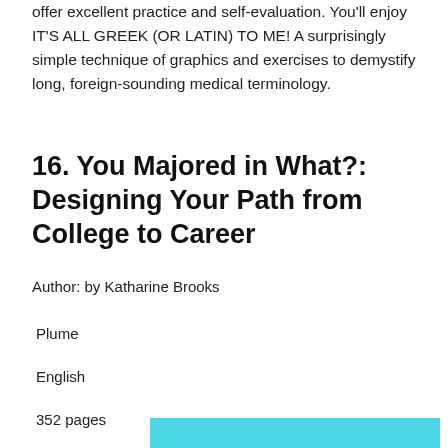offer excellent practice and self-evaluation. You'll enjoy IT'S ALL GREEK (OR LATIN) TO ME! A surprisingly simple technique of graphics and exercises to demystify long, foreign-sounding medical terminology.
16. You Majored in What?: Designing Your Path from College to Career
Author: by Katharine Brooks
Plume
English
352 pages
[Figure (other): Cyan/teal colored horizontal bar at the bottom of the page]